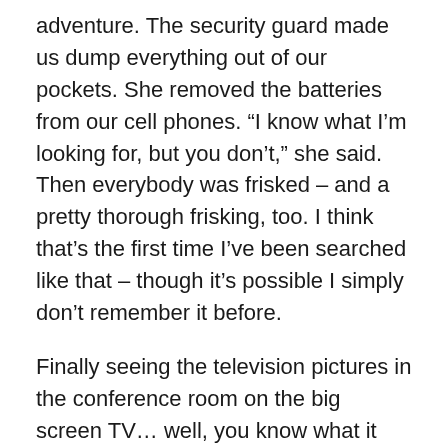adventure. The security guard made us dump everything out of our pockets. She removed the batteries from our cell phones. “I know what I’m looking for, but you don’t,” she said. Then everybody was frisked – and a pretty thorough frisking, too. I think that’s the first time I’ve been searched like that – though it’s possible I simply don’t remember it before.
Finally seeing the television pictures in the conference room on the big screen TV… well, you know what it was like, you saw them too. The bizarre juxtaposition of such a beautiful, sunny day with the horror unfolding underneath. I remember being in the Trade Center, it was a calm warm day when I was there, two decades ago. They let us go on up above the observation deck and walk around on the roof walkway. I remembered the sheer size of the two towers and understood why the giant airliners looked so